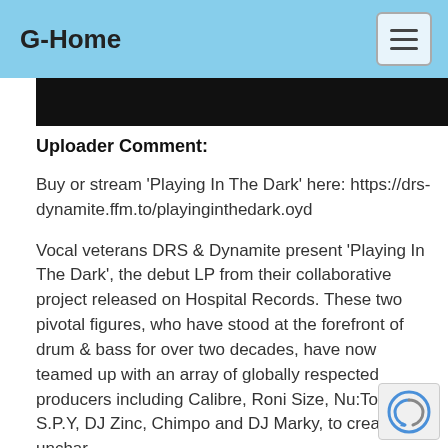G-Home
[Figure (other): Black banner/thumbnail image strip]
Uploader Comment:
Buy or stream 'Playing In The Dark' here: https://drs-dynamite.ffm.to/playinginthedark.oyd
Vocal veterans DRS & Dynamite present 'Playing In The Dark', the debut LP from their collaborative project released on Hospital Records. These two pivotal figures, who have stood at the forefront of drum & bass for over two decades, have now teamed up with an array of globally respected producers including Calibre, Roni Size, Nu:Tone, S.P.Y, DJ Zinc, Chimpo and DJ Marky, to create an uncharted 16 track LP. Following on from the success of